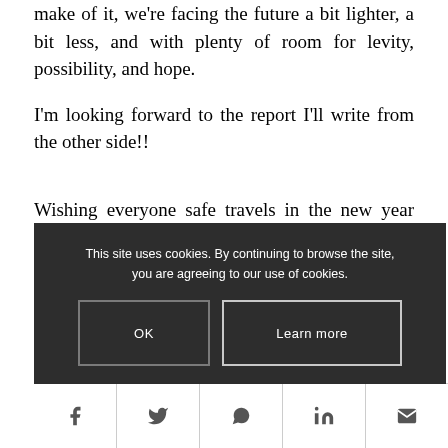make of it, we're facing the future a bit lighter, a bit less, and with plenty of room for levity, possibility, and hope.
I'm looking forward to the report I'll write from the other side!!
Wishing everyone safe travels in the new year along with peace and good health and freedom from your clutter.
This site uses cookies. By continuing to browse the site, you are agreeing to our use of cookies.
Share this e...
[Figure (other): Social share icons bar with Facebook, Twitter, WhatsApp, LinkedIn, and Email icons]